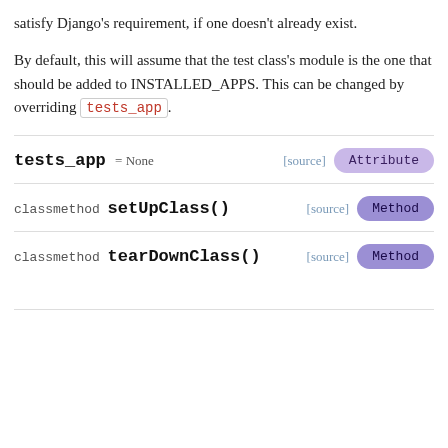satisfy Django's requirement, if one doesn't already exist.
By default, this will assume that the test class's module is the one that should be added to INSTALLED_APPS. This can be changed by overriding tests_app.
tests_app = None  [source]  Attribute
classmethod setUpClass()  [source]  Method
classmethod tearDownClass()  [source]  Method